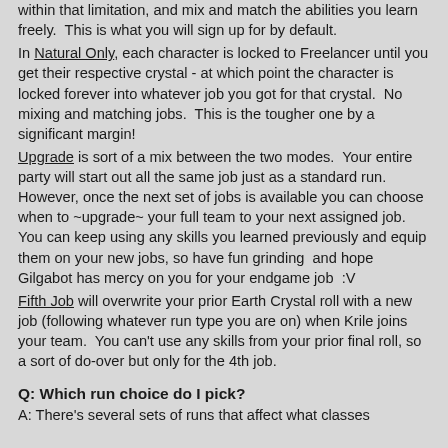within that limitation, and mix and match the abilities you learn freely.  This is what you will sign up for by default.
In Natural Only, each character is locked to Freelancer until you get their respective crystal - at which point the character is locked forever into whatever job you got for that crystal.  No mixing and matching jobs.  This is the tougher one by a significant margin!
Upgrade is sort of a mix between the two modes.  Your entire party will start out all the same job just as a standard run.  However, once the next set of jobs is available you can choose when to ~upgrade~ your full team to your next assigned job. You can keep using any skills you learned previously and equip them on your new jobs, so have fun grinding  and hope Gilgabot has mercy on you for your endgame job  :V
Fifth Job will overwrite your prior Earth Crystal roll with a new job (following whatever run type you are on) when Krile joins your team.  You can't use any skills from your prior final roll, so a sort of do-over but only for the 4th job.
Q: Which run choice do I pick?
A: There's several sets of runs that affect what classes